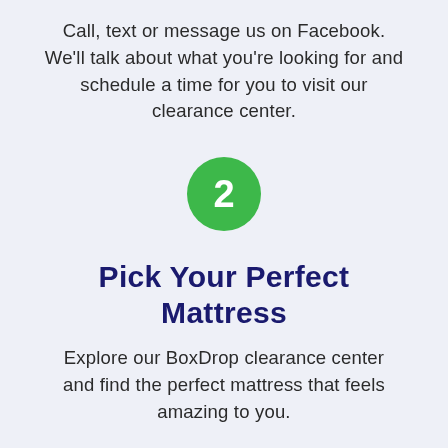Call, text or message us on Facebook. We'll talk about what you're looking for and schedule a time for you to visit our clearance center.
[Figure (other): Green circle badge with the number 2 in white, indicating step 2 in a process.]
Pick Your Perfect Mattress
Explore our BoxDrop clearance center and find the perfect mattress that feels amazing to you.